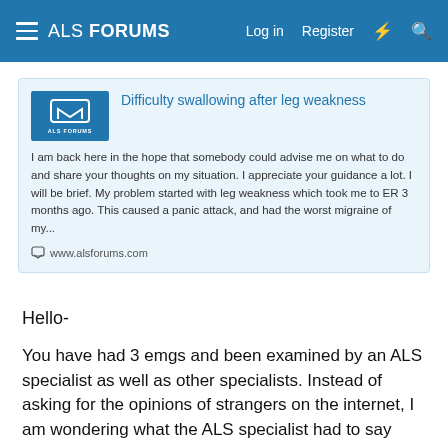ALS FORUMS  Log in  Register
[Figure (screenshot): ALS Forums preview card showing thread titled 'Difficulty swallowing after leg weakness' with excerpt text and URL www.alsforums.com]
Hello-
You have had 3 emgs and been examined by an ALS specialist as well as other specialists. Instead of asking for the opinions of strangers on the internet, I am wondering what the ALS specialist had to say about what you report and based on their clinical findings? While your mind keeps coming back to ALS, which does indicate a fixation, what does the person whose very specialty it is to detect it say? What are they telling you the next